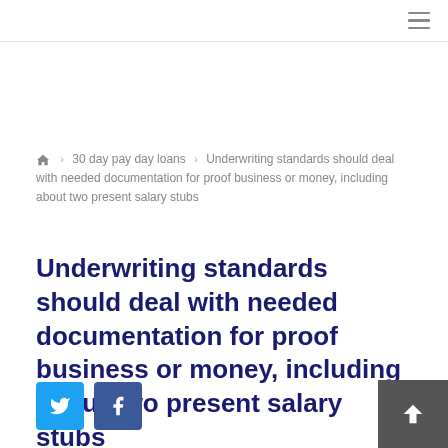≡
🏠 › 30 day pay day loans › Underwriting standards should deal with needed documentation for proof business or money, including about two present salary stubs
Underwriting standards should deal with needed documentation for proof business or money, including about two present salary stubs
[Figure (other): Twitter and Facebook social sharing buttons]